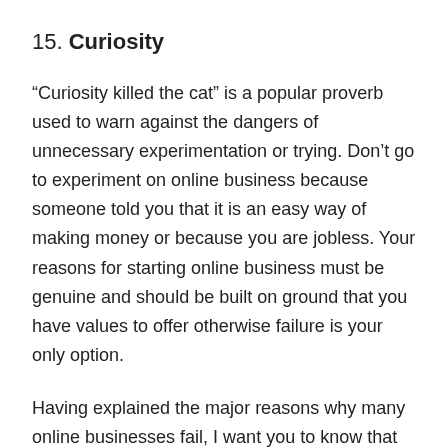15. Curiosity
“Curiosity killed the cat” is a popular proverb used to warn against the dangers of unnecessary experimentation or trying. Don’t go to experiment on online business because someone told you that it is an easy way of making money or because you are jobless. Your reasons for starting online business must be genuine and should be built on ground that you have values to offer otherwise failure is your only option.
Having explained the major reasons why many online businesses fail, I want you to know that there is no guarantee of success to any online